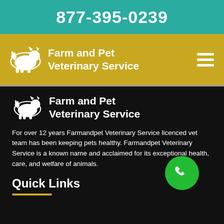877-395-0239
[Figure (logo): Farm and Pet Veterinary Service logo with animal silhouette on gold navigation bar]
Farm and Pet Veterinary Service
[Figure (logo): Farm and Pet Veterinary Service logo with animal silhouette on dark background]
Farm and Pet Veterinary Service
For over 12 years Farmandpet Veterinary Service licenced vet team has been keeping pets healthy. Farmandpet Veterinary Service is a known name and acclaimed for its exceptional health, care, and welfare of animals.
Quick Links